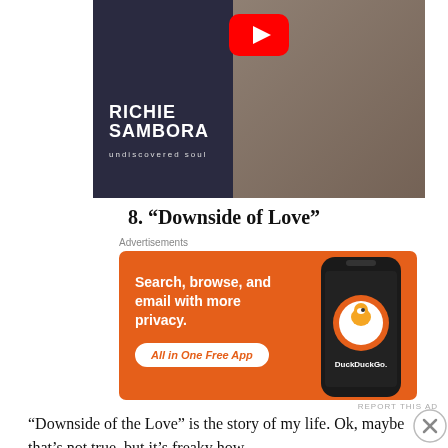[Figure (screenshot): YouTube video thumbnail showing Richie Sambora 'Undiscovered Soul' album art with YouTube play button overlay]
8. “Downside of Love”
Advertisements
[Figure (screenshot): DuckDuckGo advertisement: Search, browse, and email with more privacy. All in One Free App. Shows phone with DuckDuckGo app.]
“Downside of the Love” is the story of my life. Ok, maybe that’s not true, but it’s freaky how
Advertisements
[Figure (screenshot): WordPress advertisement: Professionally designed sites in less than a week]